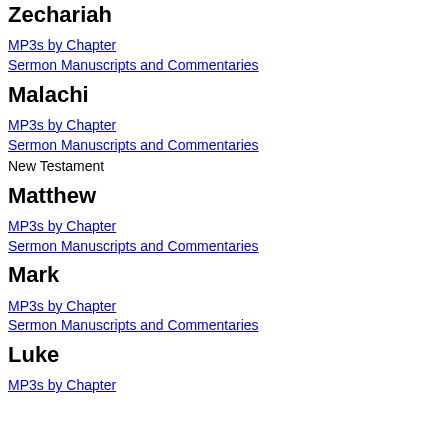Zechariah
MP3s by Chapter
Sermon Manuscripts and Commentaries
Malachi
MP3s by Chapter
Sermon Manuscripts and Commentaries
New Testament
Matthew
MP3s by Chapter
Sermon Manuscripts and Commentaries
Mark
MP3s by Chapter
Sermon Manuscripts and Commentaries
Luke
MP3s by Chapter